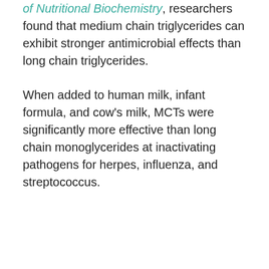of Nutritional Biochemistry, researchers found that medium chain triglycerides can exhibit stronger antimicrobial effects than long chain triglycerides.
When added to human milk, infant formula, and cow's milk, MCTs were significantly more effective than long chain monoglycerides at inactivating pathogens for herpes, influenza, and streptococcus.